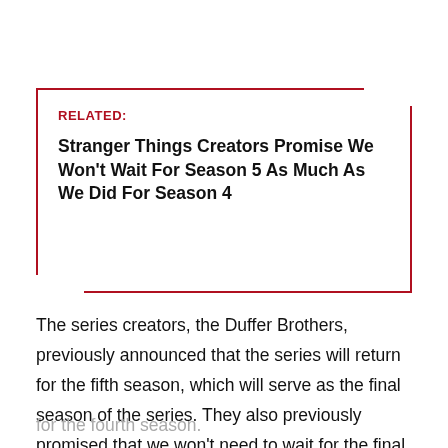RELATED:
Stranger Things Creators Promise We Won't Wait For Season 5 As Much As We Did For Season 4
The series creators, the Duffer Brothers, previously announced that the series will return for the fifth season, which will serve as the final season of the series. They also previously promised that we won't need to wait for the final season as much as we did for the fourth season.